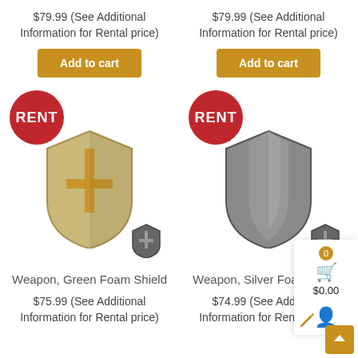$79.99 (See Additional Information for Rental price)
$79.99 (See Additional Information for Rental price)
Add to cart
Add to cart
[Figure (photo): Weapon, Green Foam Shield — a gold/beige medieval shield with a golden cross, shown large with a small silver shield beside it. RENT badge top-left, Hero's Code watermark.]
[Figure (photo): Weapon, Silver Foam Shield — a silver/grey medieval shield shown large with a small silver shield beside it. RENT badge top-left, Hero's Code watermark.]
Weapon, Green Foam Shield
Weapon, Silver Foam Shield
$75.99 (See Additional Information for Rental price)
$74.99 (See Additional Information for Rental price)